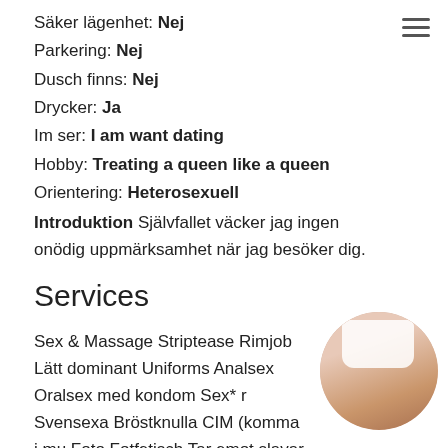Säker lägenhet: Nej
Parkering: Nej
Dusch finns: Nej
Drycker: Ja
Im ser: I am want dating
Hobby: Treating a queen like a queen
Orientering: Heterosexuell
Introduktion Självfallet väcker jag ingen onödig uppmärksamhet när jag besöker dig.
Services
Sex & Massage Striptease Rimjob Lätt dominant Uniforms Analsex Oralsex med kondom Sext* r Svensexa Bröstknulla CIM (komma i mu Foto Fotfetisch Tar emot slavar Prostate Deepthroat (djupt i halsen) Duscha tillsa Glidande massage
[Figure (photo): Circular cropped photo of a person in a white top]